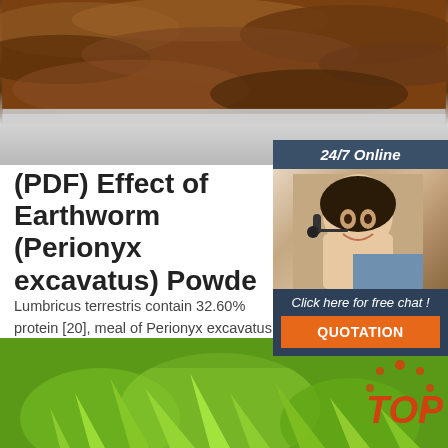[Figure (photo): Close-up photo of dark brown tree bark or dried mushroom/fungus on a white/grey surface]
(PDF) Effect of Earthworm (Perionyx excavatus) Powde
Lumbricus terrestris contain 32.60% protein [20], meal of Perionyx excavatus contain. 57.2% crude and earthworm pow der. of Eudrilus eugeniae co mg/g of protein ...
[Figure (photo): Customer service representative woman wearing headset smiling, with 24/7 Online chat widget overlay]
Click here for free chat !
QUOTATION
Get Price
[Figure (photo): Close-up photo of green spiky plant/chestnut with TOP logo watermark in bottom right]